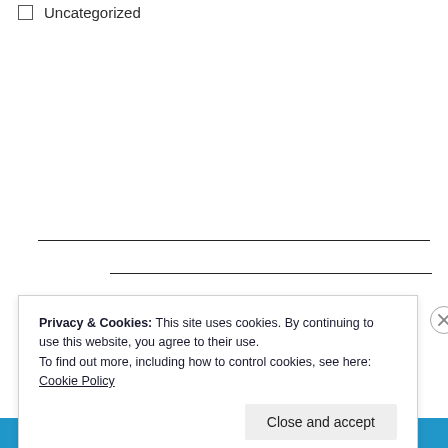☐ Uncategorized
Privacy & Cookies: This site uses cookies. By continuing to use this website, you agree to their use.
To find out more, including how to control cookies, see here: Cookie Policy
Close and accept